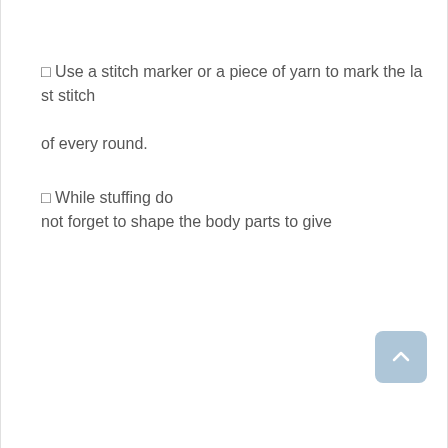◻ Use a stitch marker or a piece of yarn to mark the last stitch of every round.
◻ While stuffing do not forget to shape the body parts to give